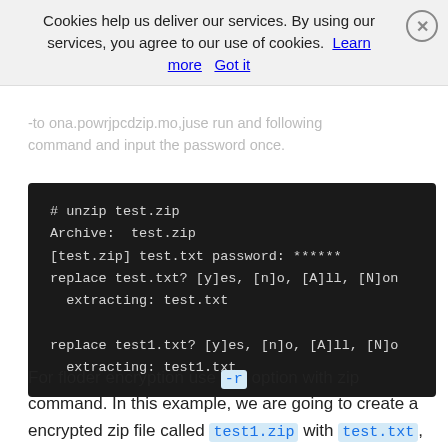Cookies help us deliver our services. By using our services, you agree to our use of cookies. Learn more   Got it
[Figure (screenshot): Terminal/code block showing unzip command output with password prompt and file extraction]
For floder encryption use -r option with zip command. In this example, we are going to create a encrypted zip file called test1.zip with test.txt, test1.txt file & test-dir folder.